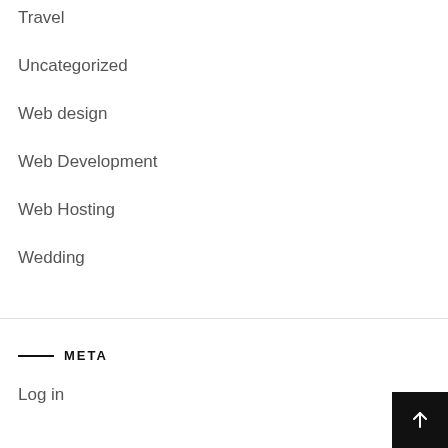Travel
Uncategorized
Web design
Web Development
Web Hosting
Wedding
META
Log in